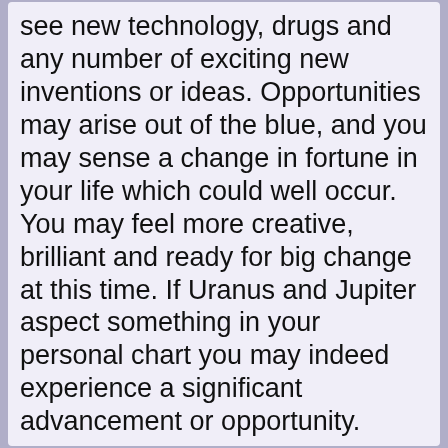see new technology, drugs and any number of exciting new inventions or ideas. Opportunities may arise out of the blue, and you may sense a change in fortune in your life which could well occur. You may feel more creative, brilliant and ready for big change at this time. If Uranus and Jupiter aspect something in your personal chart you may indeed experience a significant advancement or opportunity.
Jupiter is expansive and could involve education, medicine, legal matters and the law, philosophy or religion. Uranus rules aircraft and cutting edge technologies or even spacecraft and we may see new ideas come to fruition for the benefit of mankind.
May 3rd Jupiter will sextile Pluto but the